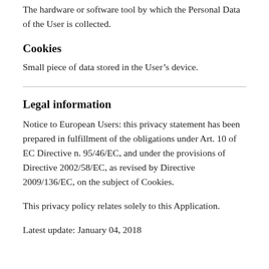The hardware or software tool by which the Personal Data of the User is collected.
Cookies
Small piece of data stored in the User's device.
Legal information
Notice to European Users: this privacy statement has been prepared in fulfillment of the obligations under Art. 10 of EC Directive n. 95/46/EC, and under the provisions of Directive 2002/58/EC, as revised by Directive 2009/136/EC, on the subject of Cookies.
This privacy policy relates solely to this Application.
Latest update: January 04, 2018